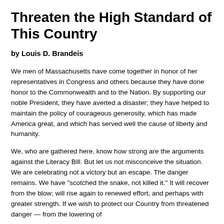Threaten the High Standard of This Country
by Louis D. Brandeis
We men of Massachusetts have come together in honor of her representatives in Congress and others because they have done honor to the Commonwealth and to the Nation. By supporting our noble President, they have averted a disaster; they have helped to maintain the policy of courageous generosity, which has made America great, and which has served well the cause of liberty and humanity.
We, who are gathered here, know how strong are the arguments against the Literacy Bill. But let us not misconceive the situation. We are celebrating not a victory but an escape. The danger remains. We have "scotched the snake, not killed it." It will recover from the blow; will rise again to renewed effort, and perhaps with greater strength. If we wish to protect our Country from threatened danger — from the lowering of